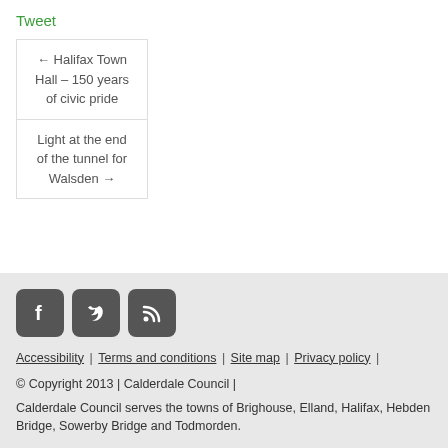Tweet
← Halifax Town Hall – 150 years of civic pride
Light at the end of the tunnel for Walsden →
[Figure (other): Social media icons: Facebook, Twitter, RSS feed]
Accessibility | Terms and conditions | Site map | Privacy policy | © Copyright 2013 | Calderdale Council | Calderdale Council serves the towns of Brighouse, Elland, Halifax, Hebden Bridge, Sowerby Bridge and Todmorden.